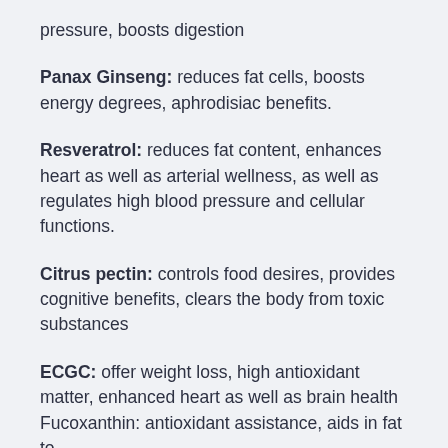pressure, boosts digestion
Panax Ginseng: reduces fat cells, boosts energy degrees, aphrodisiac benefits.
Resveratrol: reduces fat content, enhances heart as well as arterial wellness, as well as regulates high blood pressure and cellular functions.
Citrus pectin: controls food desires, provides cognitive benefits, clears the body from toxic substances
ECGC: offer weight loss, high antioxidant matter, enhanced heart as well as brain health
Fucoxanthin: antioxidant assistance, aids in fat to